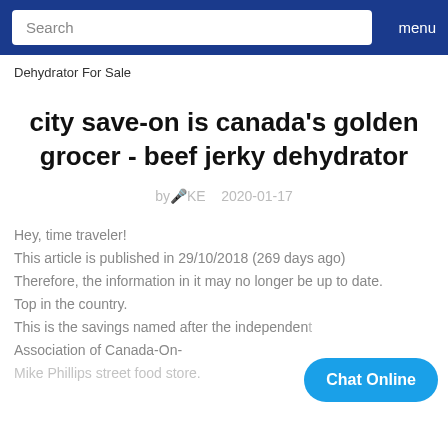Search  menu
Dehydrator For Sale
city save-on is canada's golden grocer - beef jerky dehydrator
by🎤KE   2020-01-17
Hey, time traveler!
This article is published in 29/10/2018 (269 days ago)
Therefore, the information in it may no longer be up to date.
Top in the country.
This is the savings named after the independent...
Association of Canada-On-
Mike Phillips street food store.